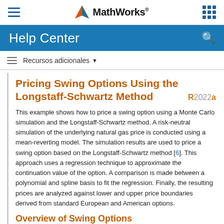MathWorks Help Center
Recursos adicionales
Pricing Swing Options Using the Longstaff-Schwartz Method R2022a
This example shows how to price a swing option using a Monte Carlo simulation and the Longstaff-Schwartz method. A risk-neutral simulation of the underlying natural gas price is conducted using a mean-reverting model. The simulation results are used to price a swing option based on the Longstaff-Schwartz method [6]. This approach uses a regression technique to approximate the continuation value of the option. A comparison is made between a polynomial and spline basis to fit the regression. Finally, the resulting prices are analyzed against lower and upper price boundaries derived from standard European and American options.
Overview of Swing Options